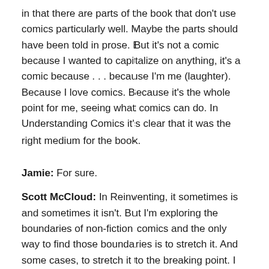in that there are parts of the book that don't use comics particularly well. Maybe the parts should have been told in prose. But it's not a comic because I wanted to capitalize on anything, it's a comic because . . . because I'm me (laughter). Because I love comics. Because it's the whole point for me, seeing what comics can do. In Understanding Comics it's clear that it was the right medium for the book.
Jamie: For sure.
Scott McCloud: In Reinventing, it sometimes is and sometimes it isn't. But I'm exploring the boundaries of non-fiction comics and the only way to find those boundaries is to stretch it. And some cases, to stretch it to the breaking point. I think in some places it broke and in some places it's solid. But anyone that knows me know why I made Reinventing Comics as a comic (laughter). Because that's what I'm about. That's everything that I am, as a comic book